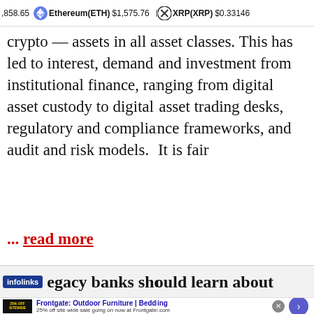858.65  Ethereum(ETH) $1,575.76  XRP(XRP) $0.33146
crypto — assets in all asset classes. This has led to interest, demand and investment from institutional finance, ranging from digital asset custody to digital asset trading desks, regulatory and compliance frameworks, and audit and risk models.  It is fair
... read more
egacy banks should learn about
[Figure (screenshot): Advertisement banner for Frontgate: Outdoor Furniture | Bedding. Shows '25% off sitewide' sale. URL: frontgate.com]
infolinks